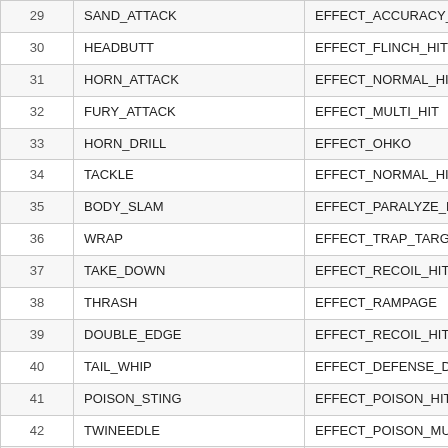| 29 | SAND_ATTACK | EFFECT_ACCURACY_DOWN | 0 |
| 30 | HEADBUTT | EFFECT_FLINCH_HIT | 70 |
| 31 | HORN_ATTACK | EFFECT_NORMAL_HIT | 65 |
| 32 | FURY_ATTACK | EFFECT_MULTI_HIT | 15 |
| 33 | HORN_DRILL | EFFECT_OHKO | 1 |
| 34 | TACKLE | EFFECT_NORMAL_HIT | 35 |
| 35 | BODY_SLAM | EFFECT_PARALYZE_HIT | 85 |
| 36 | WRAP | EFFECT_TRAP_TARGET | 15 |
| 37 | TAKE_DOWN | EFFECT_RECOIL_HIT | 90 |
| 38 | THRASH | EFFECT_RAMPAGE | 90 |
| 39 | DOUBLE_EDGE | EFFECT_RECOIL_HIT | 120 |
| 40 | TAIL_WHIP | EFFECT_DEFENSE_DOWN | 0 |
| 41 | POISON_STING | EFFECT_POISON_HIT | 15 |
| 42 | TWINEEDLE | EFFECT_POISON_MULTI_HIT | 25 |
| 43 | PIN_MISSILE | EFFECT_MULTI_HIT | 14 |